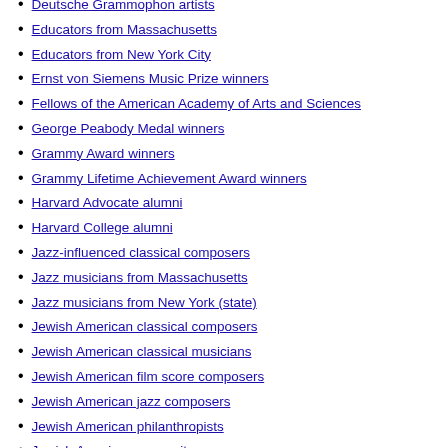Deutsche Grammophon artists
Educators from Massachusetts
Educators from New York City
Ernst von Siemens Music Prize winners
Fellows of the American Academy of Arts and Sciences
George Peabody Medal winners
Grammy Award winners
Grammy Lifetime Achievement Award winners
Harvard Advocate alumni
Harvard College alumni
Jazz-influenced classical composers
Jazz musicians from Massachusetts
Jazz musicians from New York (state)
Jewish American classical composers
Jewish American classical musicians
Jewish American film score composers
Jewish American jazz composers
Jewish American philanthropists
Jewish American songwriters
Jewish classical pianists
Jewish jazz musicians
Jewish opera composers
Kennedy Center honorees
Lecturers
LGBT classical composers
LGBT classical musicians